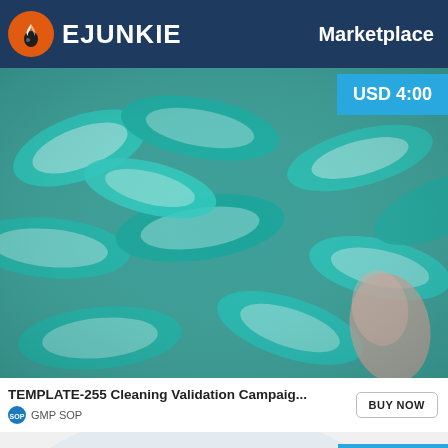EJUNKIE — Marketplace
[Figure (photo): Close-up photo of green/teal capsule pills background]
USD 4:00
TEMPLATE-255 Cleaning Validation Campaig...
GMP SOP
BUY NOW
[Figure (photo): Partial photo of pharmaceutical tablets/pills, blurred, light background]
USD 7.00